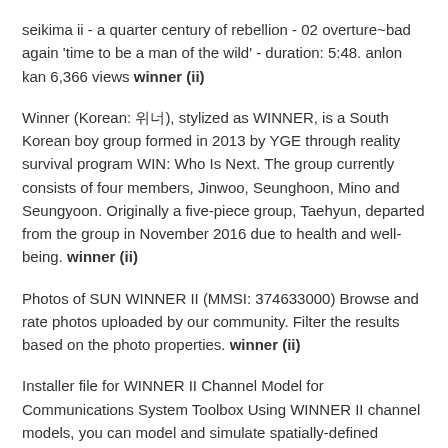seikima ii - a quarter century of rebellion - 02 overture~bad again 'time to be a man of the wild' - duration: 5:48. anlon kan 6,366 views winner (ii)
Winner (Korean: 위너), stylized as WINNER, is a South Korean boy group formed in 2013 by YGE through reality survival program WIN: Who Is Next. The group currently consists of four members, Jinwoo, Seunghoon, Mino and Seungyoon. Originally a five-piece group, Taehyun, departed from the group in November 2016 due to health and well-being. winner (ii)
Photos of SUN WINNER II (MMSI: 374633000) Browse and rate photos uploaded by our community. Filter the results based on the photo properties. winner (ii)
Installer file for WINNER II Channel Model for Communications System Toolbox Using WINNER II channel models, you can model and simulate spatially-defined channels for multi-user MIMO wireless systems. You can specify an arbitrary number